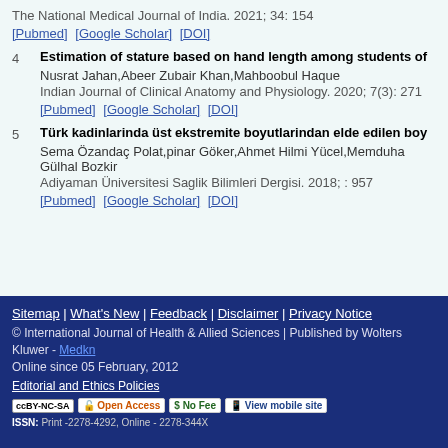The National Medical Journal of India. 2021; 34: 154
[Pubmed] [Google Scholar] [DOI]
4  Estimation of stature based on hand length among students of
Nusrat Jahan,Abeer Zubair Khan,Mahboobul Haque
Indian Journal of Clinical Anatomy and Physiology. 2020; 7(3): 271
[Pubmed] [Google Scholar] [DOI]
5  Türk kadinlarinda üst ekstremite boyutlarindan elde edilen boy
Sema Özandaç Polat,pinar Göker,Ahmet Hilmi Yücel,Memduha Gülhal Bozkir
Adiyaman Üniversitesi Saglik Bilimleri Dergisi. 2018; : 957
[Pubmed] [Google Scholar] [DOI]
Sitemap | What's New | Feedback | Disclaimer | Privacy Notice
© International Journal of Health & Allied Sciences | Published by Wolters Kluwer - Medkn
Online since 05 February, 2012
Editorial and Ethics Policies
ISSN: Print -2278-4292, Online - 2278-344X